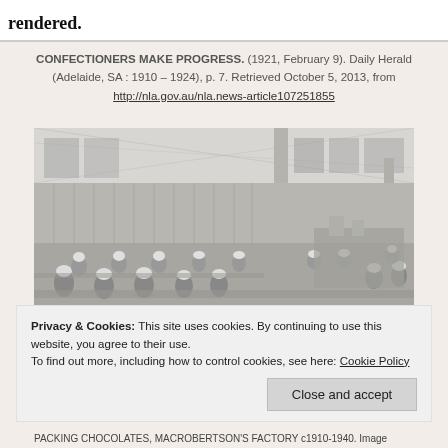great assistance that they have rendered.
CONFECTIONERS MAKE PROGRESS. (1921, February 9). Daily Herald (Adelaide, SA : 1910 – 1924), p. 7. Retrieved October 5, 2013, from http://nla.gov.au/nla.news-article107251855
[Figure (photo): Black and white photograph of workers, likely women in white caps, seated at tables in a factory interior, packing chocolates. Large windows and structural columns visible in background. MacRobertson's Factory c1910-1940.]
Privacy & Cookies: This site uses cookies. By continuing to use this website, you agree to their use.
To find out more, including how to control cookies, see here: Cookie Policy
Close and accept
PACKING CHOCOLATES, MACROBERTSON'S FACTORY c1910-1940. Image